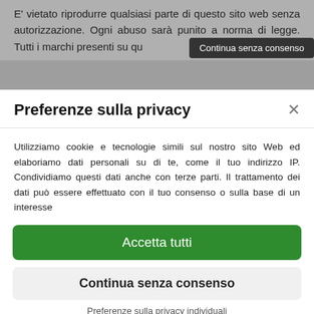E' vietato riprodurre qualsiasi parte di questo sito web senza autorizzazione. Ogni abuso sarà punito a norma di legge. Tutti i marchi presenti su qu...
Continua senza consenso
Preferenze sulla privacy
Utilizziamo cookie e tecnologie simili sul nostro sito Web ed elaboriamo dati personali su di te, come il tuo indirizzo IP. Condividiamo questi dati anche con terze parti. Il trattamento dei dati può essere effettuato con il tuo consenso o sulla base di un interesse
Accetta tutti
Continua senza consenso
Preferenze sulla privacy individuali
Cookie policy • Privacy policy • Consent Management Platform by Real Cookie Banner